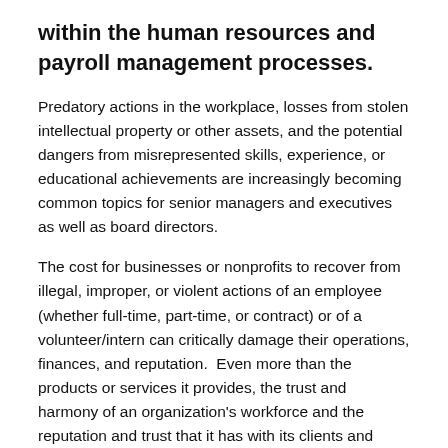within the human resources and payroll management processes.
Predatory actions in the workplace, losses from stolen intellectual property or other assets, and the potential dangers from misrepresented skills, experience, or educational achievements are increasingly becoming common topics for senior managers and executives as well as board directors.
The cost for businesses or nonprofits to recover from illegal, improper, or violent actions of an employee (whether full-time, part-time, or contract) or of a volunteer/intern can critically damage their operations, finances, and reputation.  Even more than the products or services it provides, the trust and harmony of an organization's workforce and the reputation and trust that it has with its clients and investors are the assets